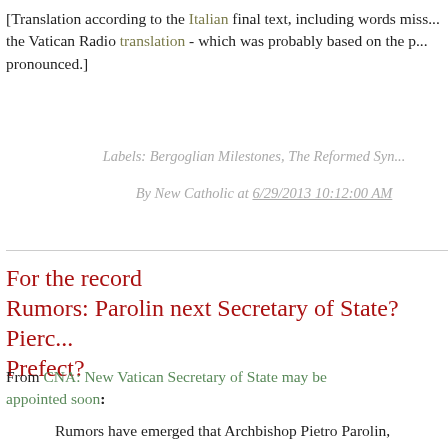[Translation according to the Italian final text, including words missing from the Vatican Radio translation - which was probably based on the pronunciation pronounced.]
Labels: Bergoglian Milestones, The Reformed Syn...
By New Catholic at 6/29/2013 10:12:00 AM
For the record
Rumors: Parolin next Secretary of State? Pierc... Prefect?
From CNA: New Vatican Secretary of State may be appointed soon:
Rumors have emerged that Archbishop Pietro Parolin, apostolic nuncio to Venezuela, will shortly be appointed as